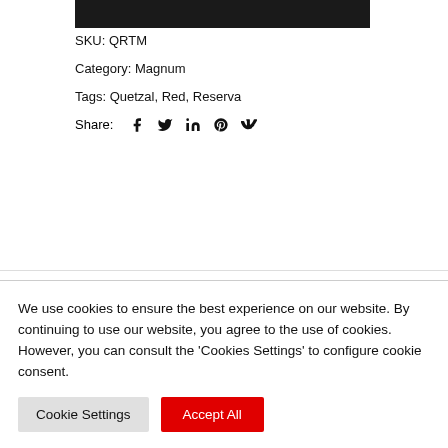[Figure (other): Black top bar image/banner]
SKU: QRTM
Category: Magnum
Tags: Quetzal, Red, Reserva
Share: (social icons: facebook, twitter, linkedin, pinterest, vk)
DESCRIPTION
We use cookies to ensure the best experience on our website. By continuing to use our website, you agree to the use of cookies. However, you can consult the 'Cookies Settings' to configure cookie consent.
Cookie Settings  Accept All